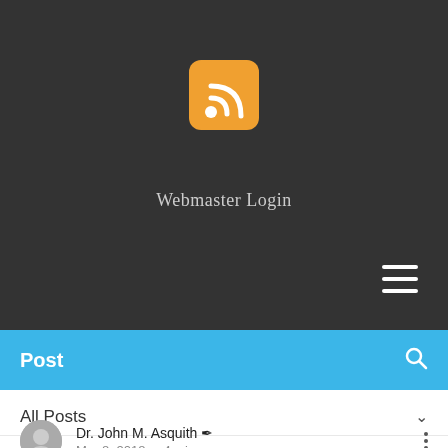[Figure (screenshot): Dark header area with RSS feed icon (orange rounded square with white wifi-style signal symbol) centered, 'Webmaster Login' text below, and hamburger menu icon in bottom right]
Post
All Posts
Dr. John M. Asquith  Mar 8, 2018 · 4 min